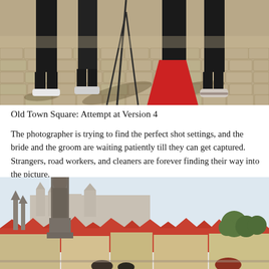[Figure (photo): Photo showing legs and feet of several people standing on a cobblestone square. A camera tripod is visible in the center. One person wears a red dress or long skirt. The scene is lit by sunlight casting shadows on the paving stones.]
Old Town Square: Attempt at Version 4
The photographer is trying to find the perfect shot settings, and the bride and the groom are waiting patiently till they can get captured. Strangers, road workers, and cleaners are forever finding their way into the picture.
[Figure (photo): Photo of Charles Bridge in Prague. On the left is a dark stone baroque statue on a pedestal. In the center-right is a classic black iron street lamp. The background shows the red-tiled rooftops of Prague's Old Town and Prague Castle on the hill. People are visible at the bottom of the image.]